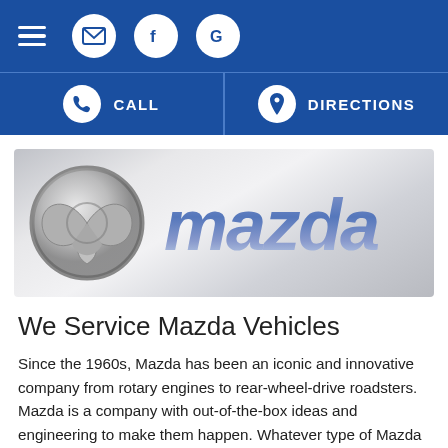Navigation bar with hamburger menu, email, Facebook, and Google icons
CALL | DIRECTIONS
[Figure (logo): Mazda logo banner with chrome Mazda emblem and stylized MAZDA wordmark on silver/grey gradient background]
We Service Mazda Vehicles
Since the 1960s, Mazda has been an iconic and innovative company from rotary engines to rear-wheel-drive roadsters. Mazda is a company with out-of-the-box ideas and engineering to make them happen. Whatever type of Mazda you drive, you need a mechanic you can trust to maintain it. Here at The Auto Shop in Visalia, our